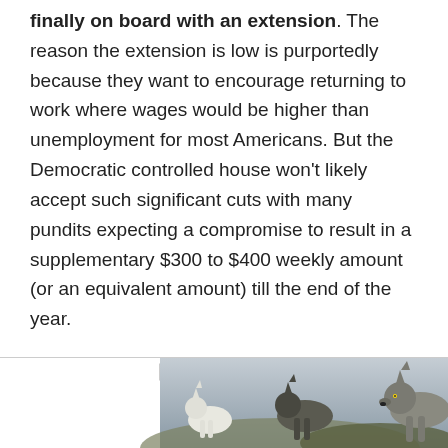finally on board with an extension. The reason the extension is low is purportedly because they want to encourage returning to work where wages would be higher than unemployment for most Americans. But the Democratic controlled house won't likely accept such significant cuts with many pundits expecting a compromise to result in a supplementary $300 to $400 weekly amount (or an equivalent amount) till the end of the year.
[Figure (photo): Advertisement banner showing wolves in a natural landscape with 'Ad' label, text 'Join the wolf pack!' and a 'Download' link]